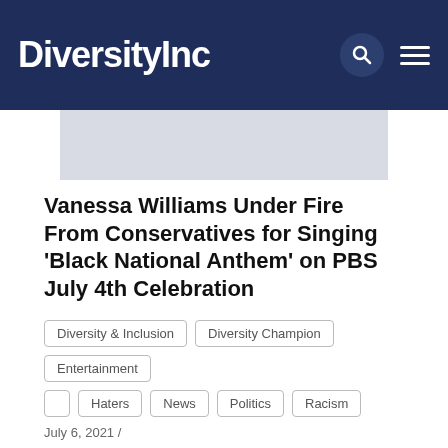DiversityInc
[Figure (other): Gray advertisement banner placeholder]
Vanessa Williams Under Fire From Conservatives for Singing ‘Black National Anthem’ on PBS July 4th Celebration
Diversity & Inclusion
Diversity Champion
Entertainment
Haters
News
Politics
Racism
July 6, 2021 / Written by Brian Good
Singer, actress and fashion designer Vanessa Williams has ignited a firestorm of controversy on social media by singing “Lift Every Voice and Sing,” what is often considered the “Black national anthem” as part of her evening hosting PBS’s annual television